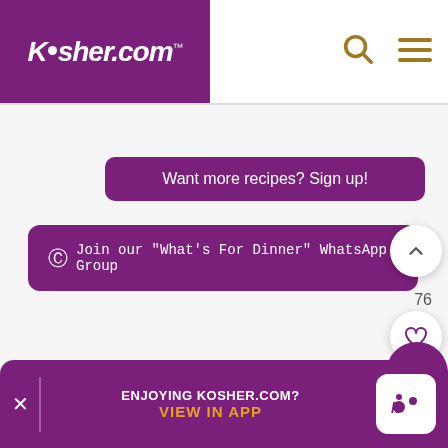[Figure (screenshot): Kosher.com website header with purple logo on left, search and menu icons on right]
Want more recipes? Sign up!
Join our "What's For Dinner" WhatsApp Group
76
Tags:  rosh chodesh club  RCC  tierra sur  spring  easy gourmet  gabe garcia
ENJOYING KOSHER.COM?  VIEW IN APP